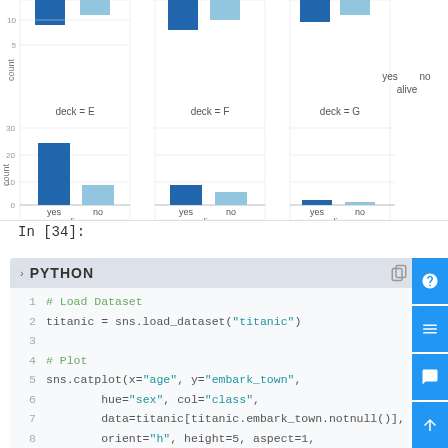[Figure (grouped-bar-chart): Titanic survival count by deck and alive status]
In [34]:
PYTHON
1  # Load Dataset
2  titanic = sns.load_dataset("titanic")
3
4  # Plot
5  sns.catplot(x="age", y="embark_town",
6          hue="sex", col="class",
7          data=titanic[titanic.embark_town.notnull()],
8          orient="h", height=5, aspect=1, palette="tab10",